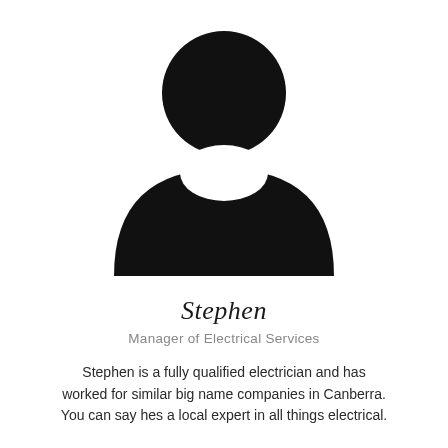[Figure (illustration): Generic person/user silhouette icon in black — a circle for the head above a rounded torso/shoulders shape, on a white background.]
Stephen
Manager of Electrical Services
Stephen is a fully qualified electrician and has worked for similar big name companies in Canberra. You can say hes a local expert in all things electrical.